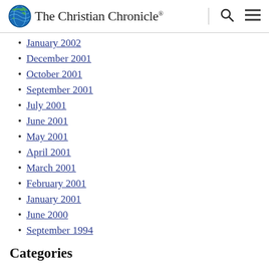The Christian Chronicle®
January 2002
December 2001
October 2001
September 2001
July 2001
June 2001
May 2001
April 2001
March 2001
February 2001
January 2001
June 2000
September 1994
Categories